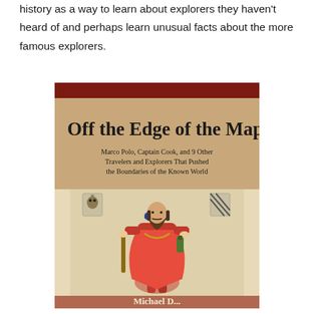history as a way to learn about explorers they haven't heard of and perhaps learn unusual facts about the more famous explorers.
[Figure (photo): Book cover photo of 'Off the Edge of the Map: Marco Polo, Captain Cook, and 9 Other Travelers and Explorers That Pushed the Boundaries of the Known World' by Michael D... The cover features a historical illustration of a bearded man in red robes and blue hat holding a staff, with heraldic shields in the upper corners, on a warm tan/parchment background with a dark red banner at the top.]